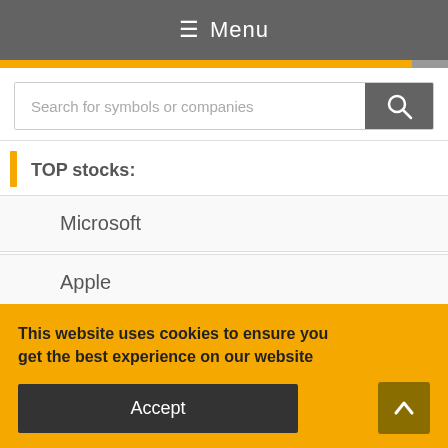☰ Menu
Search for symbols or companies
TOP stocks:
Microsoft
Apple
Tesla
This website uses cookies to ensure you get the best experience on our website
Accept